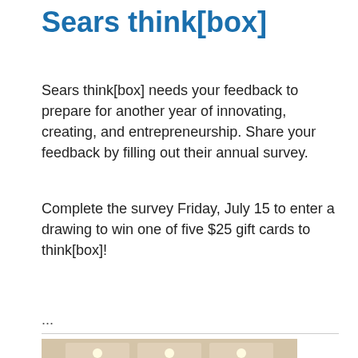Sears think[box]
Sears think[box] needs your feedback to prepare for another year of innovating, creating, and entrepreneurship. Share your feedback by filling out their annual survey.
Complete the survey Friday, July 15 to enter a drawing to win one of five $25 gift cards to think[box]!
...
[Figure (photo): Photograph of the entrance to The Samuel and Marian K. Freedman Center for Digital Scholarship, showing glass doors with text signage.]